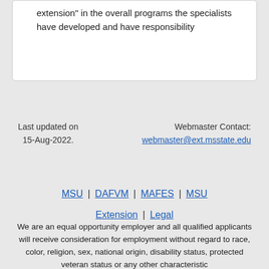extension" in the overall programs the specialists have developed and have responsibility
Last updated on 15-Aug-2022.
Webmaster Contact: webmaster@ext.msstate.edu
MSU | DAFVM | MAFES | MSU Extension | Legal
We are an equal opportunity employer and all qualified applicants will receive consideration for employment without regard to race, color, religion, sex, national origin, disability status, protected veteran status or any other characteristic